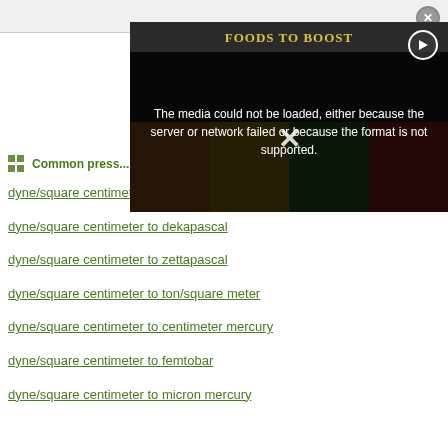[Figure (screenshot): Media player overlay showing 'FOODS TO BOOST' banner with food images (citrus, pineapple, broccoli, red pepper). Error message: 'The media could not be loaded, either because the server or network failed or because the format is not supported.' with an X close button and play button.]
Common press...
dyne/square centimeter to inch of water
dyne/square centimeter to dekapascal
dyne/square centimeter to zettapascal
dyne/square centimeter to ton/square meter
dyne/square centimeter to centimeter mercury
dyne/square centimeter to femtobar
dyne/square centimeter to micron mercury